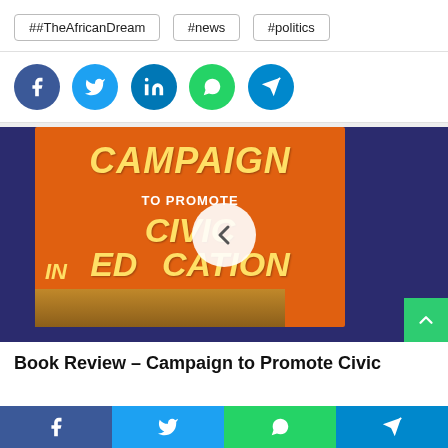##TheAfricanDream
#news
#politics
[Figure (infographic): Social media share icons: Facebook (blue), Twitter (light blue), LinkedIn (dark blue), WhatsApp (green), Telegram (blue) — circular buttons in a row]
[Figure (photo): Photo of a book titled 'Campaign to Promote Civic Education' with orange/red cover and yellow bold text, set against dark blue background. A circular navigation arrow (left chevron) overlays the image.]
Book Review – Campaign to Promote Civic
[Figure (infographic): Bottom bar with Facebook, Twitter, WhatsApp, Telegram share buttons]